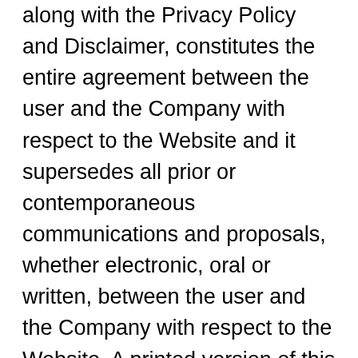along with the Privacy Policy and Disclaimer, constitutes the entire agreement between the user and the Company with respect to the Website and it supersedes all prior or contemporaneous communications and proposals, whether electronic, oral or written, between the user and the Company with respect to the Website. A printed version of this agreement and of any notice given in electronic form shall be admissible in judicial or administrative proceedings based upon or relating to this agreement to the same extent and subject to the same conditions as other business documents and records originally generated and maintained in printed form. It is the express wish to the parties that this agreement and all related